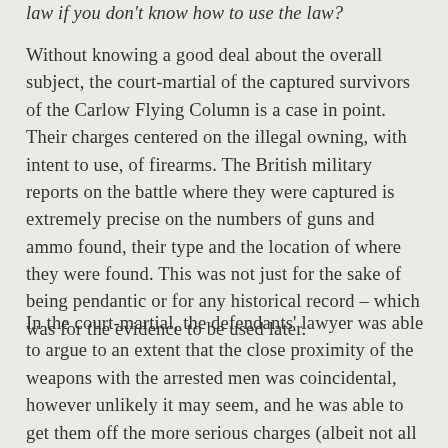law if you don't know how to use the law?
Without knowing a good deal about the overall subject, the court-martial of the captured survivors of the Carlow Flying Column is a case in point. Their charges centered on the illegal owning, with intent to use, of firearms. The British military reports on the battle where they were captured is extremely precise on the numbers of guns and ammo found, their type and the location of where they were found. This was not just for the sake of being pendantic or for any historical record – which was for the evidence to be used later.
In the court-martial, the defendants' lawyer was able to argue to an extent that the close proximity of the weapons with the arrested men was coincidental, however unlikely it may seem, and he was able to get them off the more serious charges (albeit not all the charges). So that would suggest to me that the court-martials were more